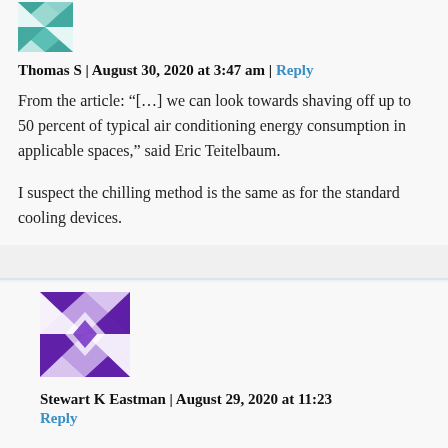[Figure (illustration): Teal/green geometric quilt-pattern avatar for Thomas S]
Thomas S | August 30, 2020 at 3:47 am | Reply
From the article: “[…] we can look towards shaving off up to 50 percent of typical air conditioning energy consumption in applicable spaces,” said Eric Teitelbaum.
I suspect the chilling method is the same as for the standard cooling devices.
[Figure (illustration): Purple and white geometric quilt-pattern avatar for Stewart K Eastman]
Stewart K Eastman | August 29, 2020 at 11:23